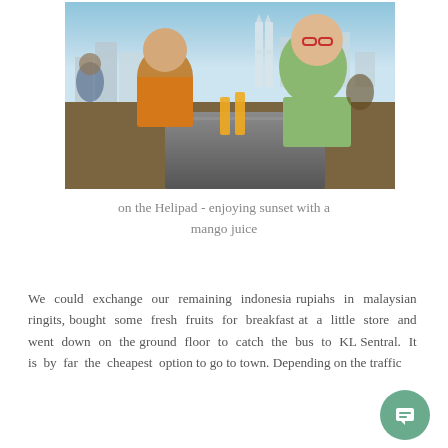[Figure (photo): Two people sitting at an outdoor rooftop bar/restaurant table, smiling at camera with orange juice glasses in front of them. City skyline with tall buildings and Petronas Towers visible in background. One person wearing orange shirt, another wearing floral patterned top with red glasses.]
on the Helipad - enjoying sunset with a mango juice
We could exchange our remaining indonesia rupiahs in malaysian ringits, bought some fresh fruits for breakfast at a little store and went down on the ground floor to catch the bus to Sentral. It is by far the cheapest option to go to town. Depending on the traffic